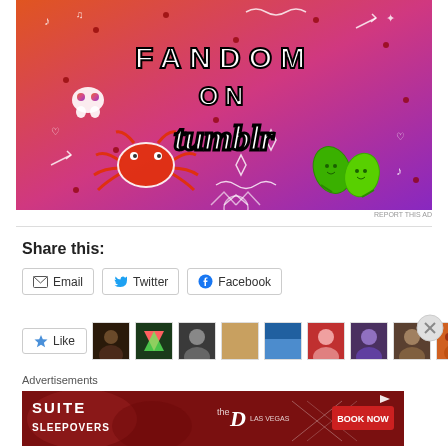[Figure (illustration): Fandom on Tumblr advertisement banner with colorful orange-to-purple gradient background, white text reading FANDOM ON tumblr, and various doodle illustrations including a crab, leaves, skull, music notes, arrows, hearts, and other symbols]
REPORT THIS AD
Share this:
Email  Twitter  Facebook
Like
Advertisements
[Figure (illustration): Suite Sleepovers advertisement banner with dark red background, white text reading SUITE SLEEPOVERS, The D Las Vegas logo, and a BOOK NOW button]